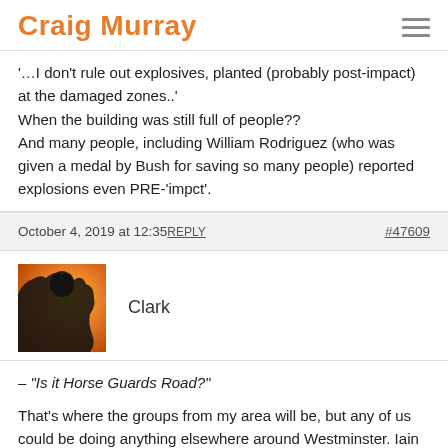Craig Murray
'…I don't rule out explosives, planted (probably post-impact) at the damaged zones..'
When the building was still full of people??
And many people, including William Rodriguez (who was given a medal by Bush for saving so many people) reported explosions even PRE-'impct'.
October 4, 2019 at 12:35 REPLY   #47609
[Figure (photo): User avatar for Clark: silhouette of a person against a yellow and orange background]
Clark
– "Is it Horse Guards Road?"
That's where the groups from my area will be, but any of us could be doing anything elsewhere around Westminster. Iain Orr says he'll be visiting our camp at some point; I'll ask him to forward you